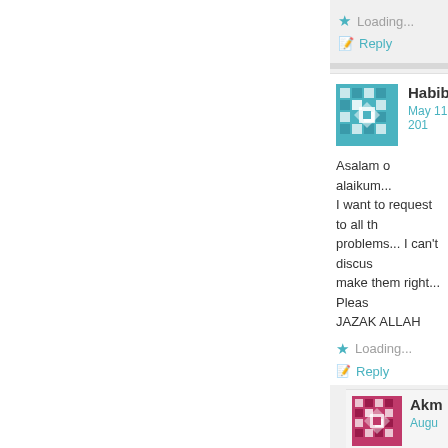Loading...
Reply
Habibii
May 11, 201
[Figure (illustration): Teal pixel/mosaic avatar for user Habibii]
Asalam o alaikum...
I want to request to all th problems... I can't discus make them right... Pleas JAZAK ALLAH
Loading...
Reply
[Figure (illustration): Pink/magenta pixel/mosaic avatar for user Akm]
Akm
Augu